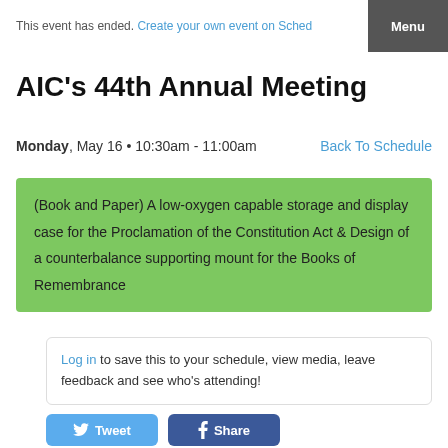This event has ended. Create your own event on Sched
AIC's 44th Annual Meeting
Monday, May 16 • 10:30am - 11:00am   Back To Schedule
(Book and Paper) A low-oxygen capable storage and display case for the Proclamation of the Constitution Act & Design of a counterbalance supporting mount for the Books of Remembrance
Log in to save this to your schedule, view media, leave feedback and see who's attending!
Tweet   Share